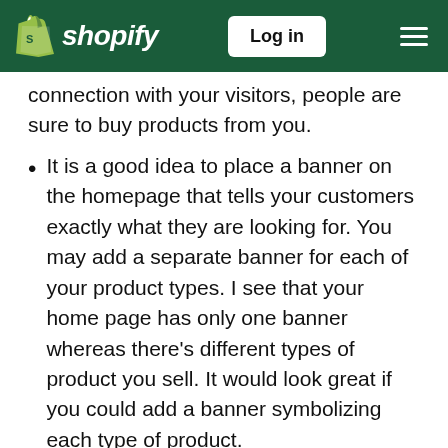Shopify — Log in
connection with your visitors, people are sure to buy products from you.
It is a good idea to place a banner on the homepage that tells your customers exactly what they are looking for. You may add a separate banner for each of your product types. I see that your home page has only one banner whereas there's different types of product you sell. It would look great if you could add a banner symbolizing each type of product.
It is a good idea to have multiple slides on your banner (each should stay for around 5seconds) for each product type and have the CTA buttons for each slide redirect the